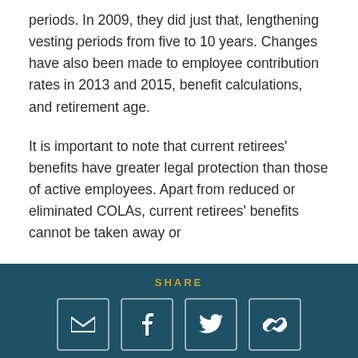periods. In 2009, they did just that, lengthening vesting periods from five to 10 years. Changes have also been made to employee contribution rates in 2013 and 2015, benefit calculations, and retirement age.
It is important to note that current retirees' benefits have greater legal protection than those of active employees. Apart from reduced or eliminated COLAs, current retirees' benefits cannot be taken away or
SHARE